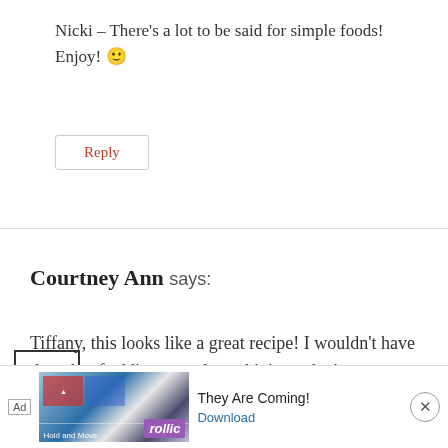Nicki – There's a lot to be said for simple foods! Enjoy! 🙂
Reply
Courtney Ann says:
Tiffany, this looks like a great recipe! I wouldn't have thought of adding grated zucchini...so that's a great way to get some added vegies in! Also, I love that it's not too unhealthy (with the substitution) and...
[Figure (screenshot): Advertisement bar at bottom: Ad label, image with mountains/graph and Follic logo, text 'They Are Coming!', Download link, close button]